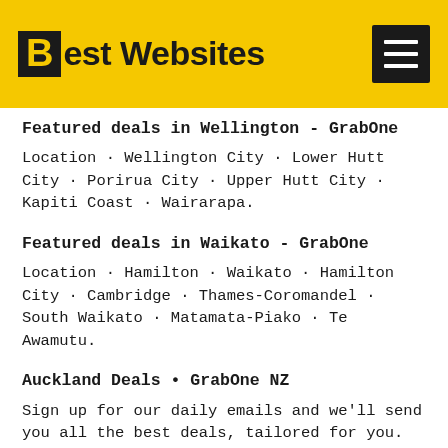Best Websites
Featured deals in Wellington - GrabOne
Location · Wellington City · Lower Hutt City · Porirua City · Upper Hutt City · Kapiti Coast · Wairarapa.
Featured deals in Waikato - GrabOne
Location · Hamilton · Waikato · Hamilton City · Cambridge · Thames-Coromandel · South Waikato · Matamata-Piako · Te Awamutu.
Auckland Deals • GrabOne NZ
Sign up for our daily emails and we'll send you all the best deals, tailored for you. Subscribe. Privacy Policy.